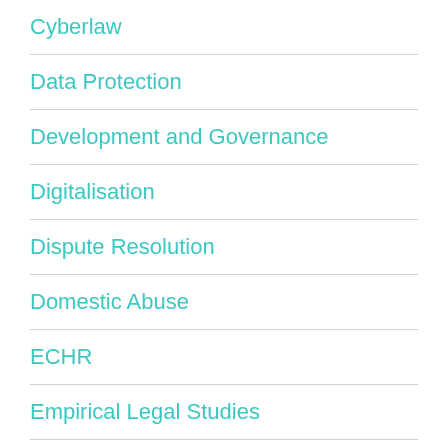Cyberlaw
Data Protection
Development and Governance
Digitalisation
Dispute Resolution
Domestic Abuse
ECHR
Empirical Legal Studies
Employment Law